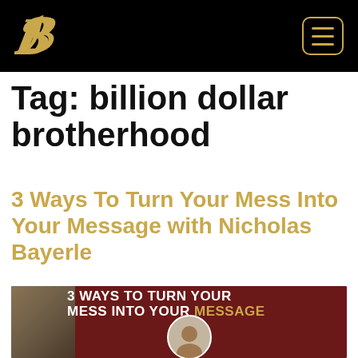B [logo] [menu icon]
Tag: billion dollar brotherhood
3 Ways To Turn Your Mess Into Your Message with Nicholas Bayerle
[Figure (photo): Thumbnail image with bold text reading '3 WAYS TO TURN YOUR MESS INTO YOUR MESSAGE' in white and gold, with a person visible at the bottom center, on a dark red/brown background.]